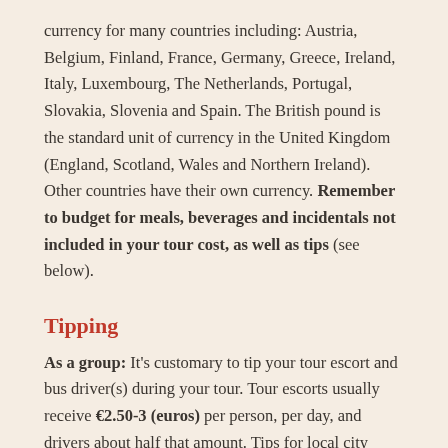currency for many countries including: Austria, Belgium, Finland, France, Germany, Greece, Ireland, Italy, Luxembourg, The Netherlands, Portugal, Slovakia, Slovenia and Spain. The British pound is the standard unit of currency in the United Kingdom (England, Scotland, Wales and Northern Ireland). Other countries have their own currency. Remember to budget for meals, beverages and incidentals not included in your tour cost, as well as tips (see below).
Tipping
As a group: It's customary to tip your tour escort and bus driver(s) during your tour. Tour escorts usually receive €2.50-3 (euros) per person, per day, and drivers about half that amount. Tips for local city guides vary by country but